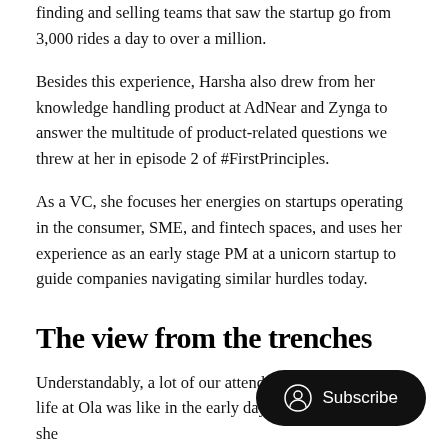finding and selling teams that saw the startup go from 3,000 rides a day to over a million.
Besides this experience, Harsha also drew from her knowledge handling product at AdNear and Zynga to answer the multitude of product-related questions we threw at her in episode 2 of #FirstPrinciples.
As a VC, she focuses her energies on startups operating in the consumer, SME, and fintech spaces, and uses her experience as an early stage PM at a unicorn startup to guide companies navigating similar hurdles today.
The view from the trenches
Understandably, a lot of our attendees [wondered] what life at Ola was like in the early days. Harsha recalls how she